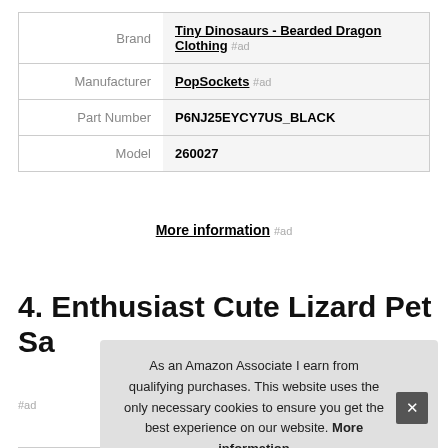|  |  |
| --- | --- |
| Brand | Tiny Dinosaurs - Bearded Dragon Clothing #ad |
| Manufacturer | PopSockets #ad |
| Part Number | P6NJ25EYCY7US_BLACK |
| Model | 260027 |
More information #ad
4. Enthusiast Cute Lizard Pet Sa
As an Amazon Associate I earn from qualifying purchases. This website uses the only necessary cookies to ensure you get the best experience on our website. More information
#ad